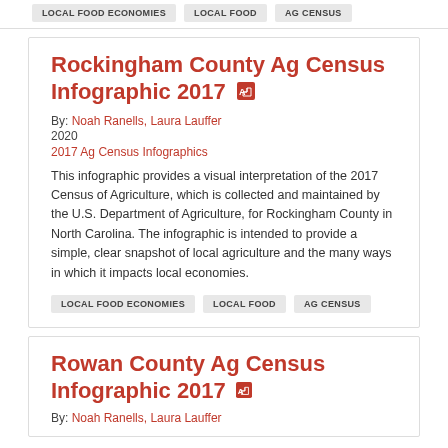LOCAL FOOD ECONOMIES   LOCAL FOOD   AG CENSUS
Rockingham County Ag Census Infographic 2017
By: Noah Ranells, Laura Lauffer
2020
2017 Ag Census Infographics
This infographic provides a visual interpretation of the 2017 Census of Agriculture, which is collected and maintained by the U.S. Department of Agriculture, for Rockingham County in North Carolina. The infographic is intended to provide a simple, clear snapshot of local agriculture and the many ways in which it impacts local economies.
LOCAL FOOD ECONOMIES   LOCAL FOOD   AG CENSUS
Rowan County Ag Census Infographic 2017
By: Noah Ranells, Laura Lauffer